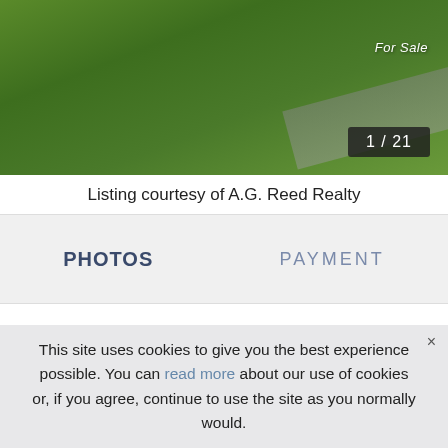[Figure (photo): Exterior lawn and driveway photo of a property for sale, with green grass and a concrete path. Overlay shows '1/21' counter badge and 'For Sale' text.]
Listing courtesy of A.G. Reed Realty
PHOTOS   PAYMENT
Schedule a Showing
This site uses cookies to give you the best experience possible. You can read more about our use of cookies or, if you agree, continue to use the site as you normally would.